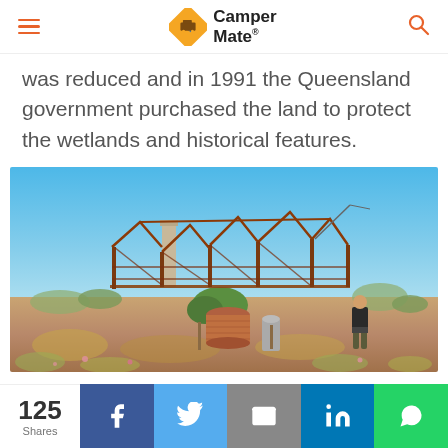CamperMate
was reduced and in 1991 the Queensland government purchased the land to protect the wetlands and historical features.
[Figure (photo): Ruins of a historical outback station building — rusted steel frame structure with a stone chimney, water tank, and a person standing nearby, in arid Australian landscape under blue sky.]
125 Shares
Facebook share button
Twitter share button
Email share button
LinkedIn share button
WhatsApp share button